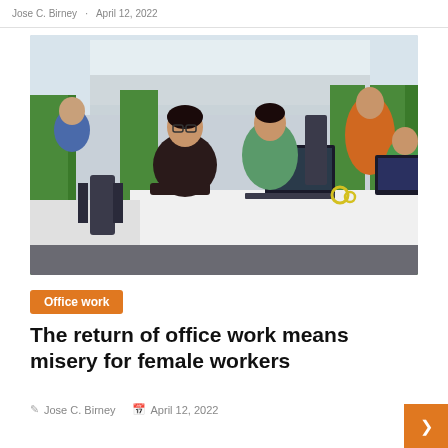Jose C. Birney · April 12, 2022
[Figure (photo): Office workers seated at desks with laptops and green partition dividers in an open-plan office with large windows.]
Office work
The return of office work means misery for female workers
Jose C. Birney   April 12, 2022